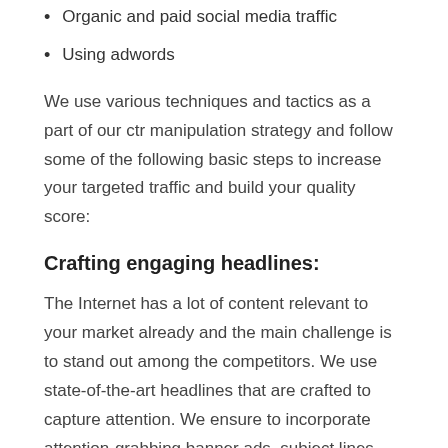Organic and paid social media traffic
Using adwords
We use various techniques and tactics as a part of our ctr manipulation strategy and follow some of the following basic steps to increase your targeted traffic and build your quality score:
Crafting engaging headlines:
The Internet has a lot of content relevant to your market already and the main challenge is to stand out among the competitors. We use state-of-the-art headlines that are crafted to capture attention. We ensure to incorporate attention-grabbing banner ads, subject lines, and so on
Optimizing Meta Description
Your headlines should grab the attention of your existing and potential customers if you have well-optimized and engaging meta